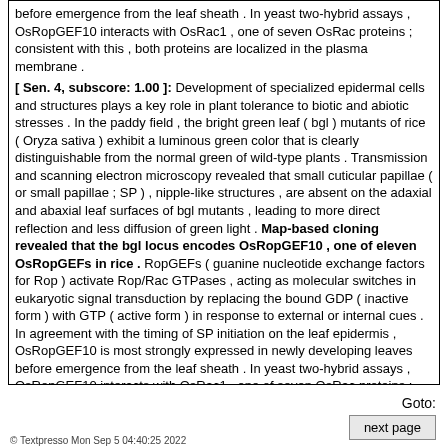before emergence from the leaf sheath . In yeast two-hybrid assays , OsRopGEF10 interacts with OsRac1 , one of seven OsRac proteins ; consistent with this , both proteins are localized in the plasma membrane .
[ Sen. 4, subscore: 1.00 ]: Development of specialized epidermal cells and structures plays a key role in plant tolerance to biotic and abiotic stresses . In the paddy field , the bright green leaf ( bgl ) mutants of rice ( Oryza sativa ) exhibit a luminous green color that is clearly distinguishable from the normal green of wild-type plants . Transmission and scanning electron microscopy revealed that small cuticular papillae ( or small papillae ; SP ) , nipple-like structures , are absent on the adaxial and abaxial leaf surfaces of bgl mutants , leading to more direct reflection and less diffusion of green light . Map-based cloning revealed that the bgl locus encodes OsRopGEF10 , one of eleven OsRopGEFs in rice . RopGEFs ( guanine nucleotide exchange factors for Rop ) activate Rop/Rac GTPases , acting as molecular switches in eukaryotic signal transduction by replacing the bound GDP ( inactive form ) with GTP ( active form ) in response to external or internal cues . In agreement with the timing of SP initiation on the leaf epidermis , OsRopGEF10 is most strongly expressed in newly developing leaves before emergence from the leaf sheath . In yeast two-hybrid assays , OsRopGEF10 interacts with OsRac1 , one of seven OsRac proteins ; consistent with this , both proteins are localized in the plasma membrane . These results suggest that OsRopGEF10 activates OsRac1 to turn on the molecular signaling pathway for SP development .
Goto:
next page
© Textpresso Mon Sep 5 04:40:25 2022